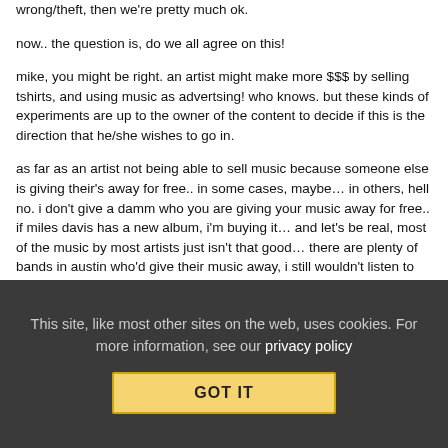wrong/theft, then we're pretty much ok.
now.. the question is, do we all agree on this!
mike, you might be right. an artist might make more $$$ by selling tshirts, and using music as advertsing! who knows. but these kinds of experiments are up to the owner of the content to decide if this is the direction that he/she wishes to go in.
as far as an artist not being able to sell music because someone else is giving their's away for free.. in some cases, maybe… in others, hell no. i don't give a damm who you are giving your music away for free.. if miles davis has a new album, i'm buying it… and let's be real, most of the music by most artists just isn't that good… there are plenty of bands in austin who'd give their music away, i still wouldn't listen to it…
different strokes/different folks!! but i'm 40+ years.
This site, like most other sites on the web, uses cookies. For more information, see our privacy policy GOT IT